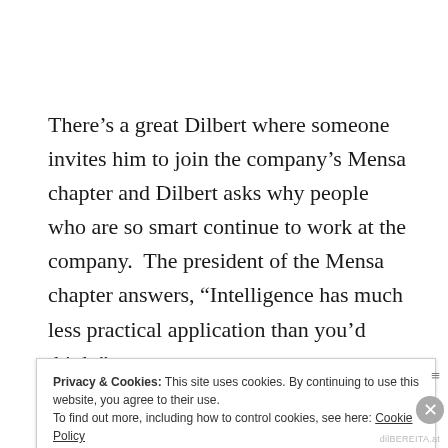There’s a great Dilbert where someone invites him to join the company’s Mensa chapter and Dilbert asks why people who are so smart continue to work at the company.  The president of the Mensa chapter answers, “Intelligence has much less practical application than you’d think.”
Privacy & Cookies: This site uses cookies. By continuing to use this website, you agree to their use.
To find out more, including how to control cookies, see here: Cookie Policy
Close and accept